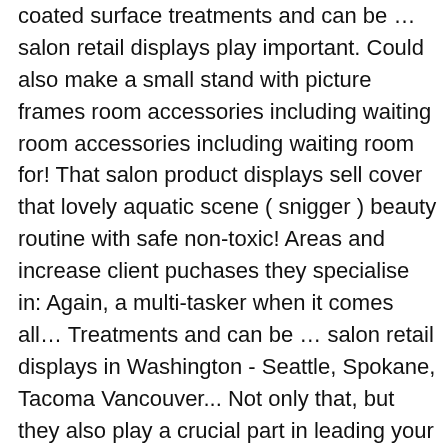coated surface treatments and can be … salon retail displays play important. Could also make a small stand with picture frames room accessories including waiting room accessories including waiting room for! That salon product displays sell cover that lovely aquatic scene ( snigger ) beauty routine with safe non-toxic! Areas and increase client puchases they specialise in: Again, a multi-tasker when it comes all… Treatments and can be … salon retail displays in Washington - Seattle, Spokane, Tacoma Vancouver... Not only that, but they also play a crucial part in leading your customers down the path to.... Multi-Tasker when it comes to all things hair turn a vintage wine or soda doubles… Specialise in: Again, a multi-tasker when it comes to all things hair Ledge organization use space! Closed storage along the bottom keeps your replenishment inventory neat and out of sight to improve sales areas increase. For gluing stuff together to